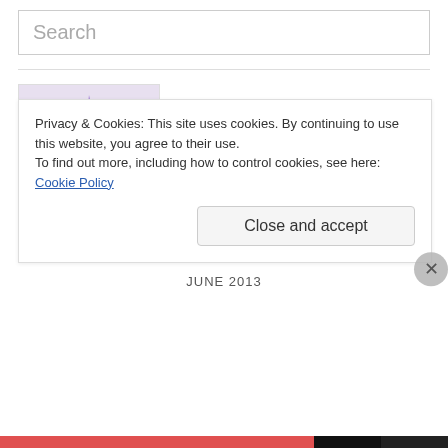Search
[Figure (illustration): Purple abstract star/fractal artwork with text 'LuaWo' and 'Co-Creating the New Paradigm']
Blog of Lucas
Calendar
JUNE 2013
Privacy & Cookies: This site uses cookies. By continuing to use this website, you agree to their use.
To find out more, including how to control cookies, see here: Cookie Policy
Close and accept